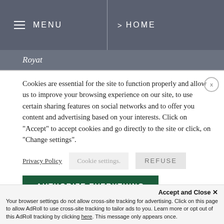MENU > HOME
Royat
Cookies are essential for the site to function properly and allow us to improve your browsing experience on our site, to use certain sharing features on social networks and to offer you content and advertising based on your interests. Click on "Accept" to accept cookies and go directly to the site or click, on "Change settings".
Privacy Policy   Cookie settings.   REFUSE
AUTHORIZE EVERYTHING
Accept and Close ✕
Your browser settings do not allow cross-site tracking for advertising. Click on this page to allow AdRoll to use cross-site tracking to tailor ads to you. Learn more or opt out of this AdRoll tracking by clicking here. This message only appears once.